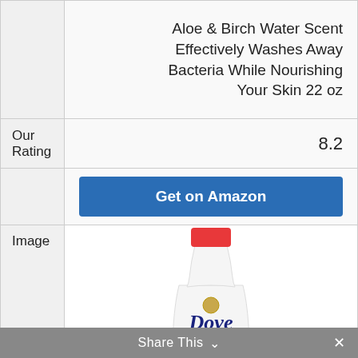|  | Aloe & Birch Water Scent Effectively Washes Away Bacteria While Nourishing Your Skin 22 oz |
| Our Rating | 8.2 |
|  | Get on Amazon |
| Image | [Dove rejuvenating body wash bottle image] |
Share This ∨  ×